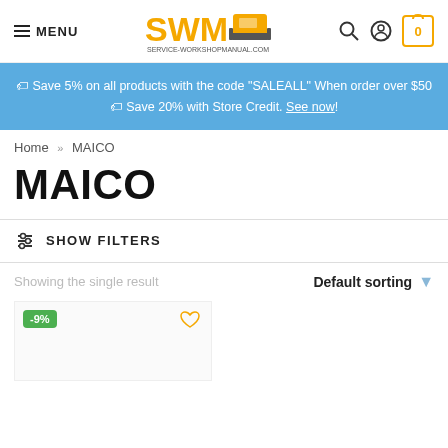MENU | SWM SERVICE-WORKSHOPMANUAL.COM | search | account | cart 0
🏷 Save 5% on all products with the code "SALEALL" When order over $50
🏷 Save 20% with Store Credit. See now!
Home » MAICO
MAICO
SHOW FILTERS
Showing the single result
Default sorting
[Figure (screenshot): Product card showing -9% discount badge and wishlist heart icon]